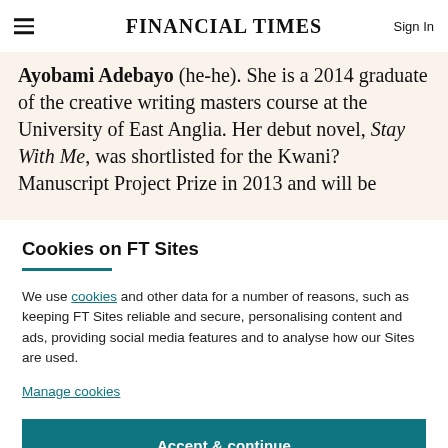FINANCIAL TIMES
Ayobami Adebayo (he-he). She is a 2014 graduate of the creative writing masters course at the University of East Anglia. Her debut novel, Stay With Me, was shortlisted for the Kwani? Manuscript Project Prize in 2013 and will be
Cookies on FT Sites
We use cookies and other data for a number of reasons, such as keeping FT Sites reliable and secure, personalising content and ads, providing social media features and to analyse how our Sites are used.
Manage cookies
Accept & continue